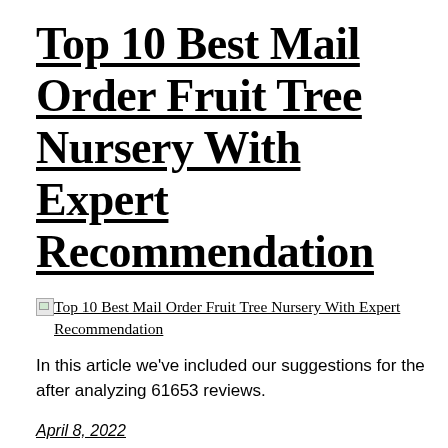Top 10 Best Mail Order Fruit Tree Nursery With Expert Recommendation
[Figure (other): Broken image placeholder with alt text: Top 10 Best Mail Order Fruit Tree Nursery With Expert Recommendation]
In this article we've included our suggestions for the after analyzing 61653 reviews.
April 8, 2022